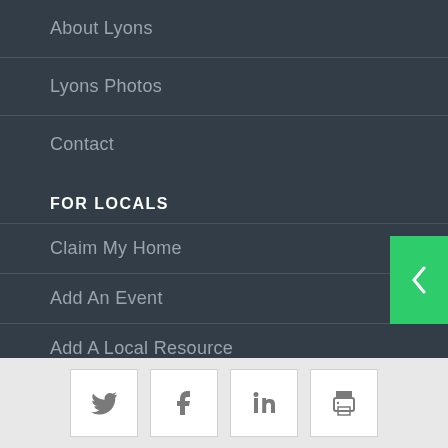About Lyons
Lyons Photos
Contact
FOR LOCALS
Claim My Home
Add An Event
Add A Local Resource
Add A Local Business
Recommend a Home Contractor
[Figure (other): Navigation panel with green arrow tab on right side]
Social share buttons: Twitter, Facebook, LinkedIn, Print